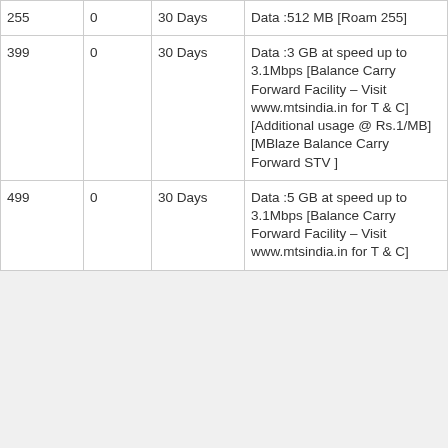| 255 | 0 | 30 Days | Data :512 MB [Roam 255] |
| 399 | 0 | 30 Days | Data :3 GB at speed up to 3.1Mbps [Balance Carry Forward Facility – Visit www.mtsindia.in for T & C] [Additional usage @ Rs.1/MB] [MBlaze Balance Carry Forward STV ] |
| 499 | 0 | 30 Days | Data :5 GB at speed up to 3.1Mbps [Balance Carry Forward Facility – Visit www.mtsindia.in for T & C] |